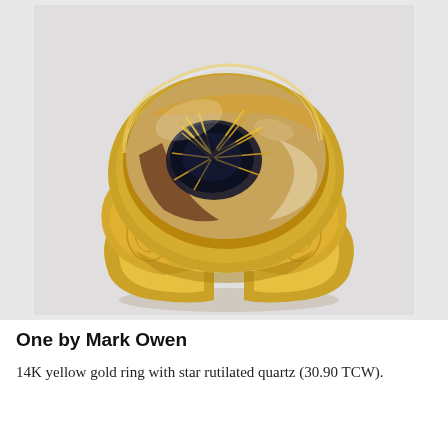[Figure (photo): A 14K yellow gold signet-style ring with a large cushion-shaped star rutilated quartz gemstone. The quartz stone features dark mineral inclusions with golden rutile needles radiating outward. The gold band is thick and chunky with decorative engraved panels on the sides. The ring is photographed on a light gray background with a subtle reflection below.]
One by Mark Owen
14K yellow gold ring with star rutilated quartz (30.90 TCW).